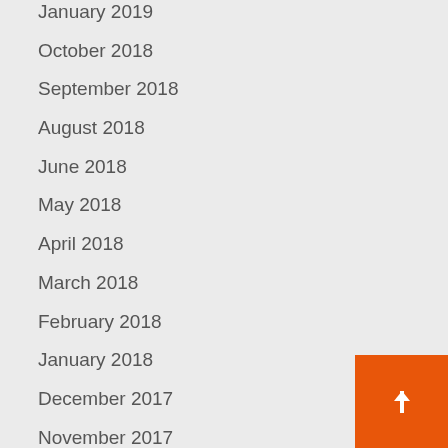January 2019
October 2018
September 2018
August 2018
June 2018
May 2018
April 2018
March 2018
February 2018
January 2018
December 2017
November 2017
September 2017